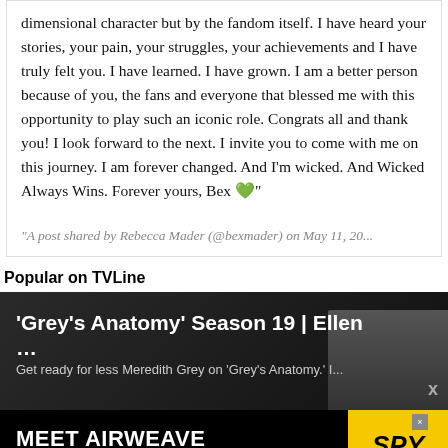dimensional character but by the fandom itself. I have heard your stories, your pain, your struggles, your achievements and I have truly felt you. I have learned. I have grown. I am a better person because of you, the fans and everyone that blessed me with this opportunity to play such an iconic role. Congrats all and thank you! I look forward to the next. I invite you to come with me on this journey. I am forever changed. And I'm wicked. And Wicked Always Wins. Forever yours, Bex 💚"
"A post shared by Rebecca Mader (@bexmader) on May 11, 20...
Popular on TVLine
[Figure (screenshot): Dark promo card for 'Grey's Anatomy' Season 19 | Ellen ... with subtitle 'Get ready for less Meredith Grey on Grey's Anatomy.' and a partially visible face in the background]
[Figure (screenshot): Advertisement banner for AIRWEAVE - MEET AIRWEAVE MODULAR, WASHABLE MATTRESS with SPY logo in yellow on black background]